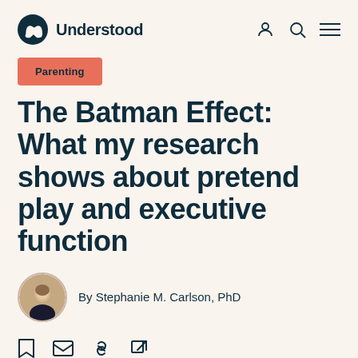Understood
Parenting
The Batman Effect: What my research shows about pretend play and executive function
By Stephanie M. Carlson, PhD